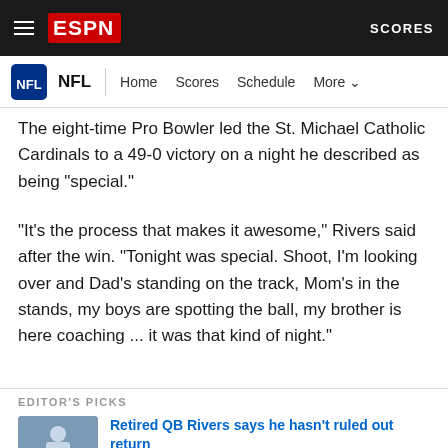ESPN — SCORES
NFL | Home  Scores  Schedule  More
The eight-time Pro Bowler led the St. Michael Catholic Cardinals to a 49-0 victory on a night he described as being "special."
"It's the process that makes it awesome," Rivers said after the win. "Tonight was special. Shoot, I'm looking over and Dad's standing on the track, Mom's in the stands, my boys are spotting the ball, my brother is here coaching ... it was that kind of night."
EDITOR'S PICKS
Retired QB Rivers says he hasn't ruled out return
1y